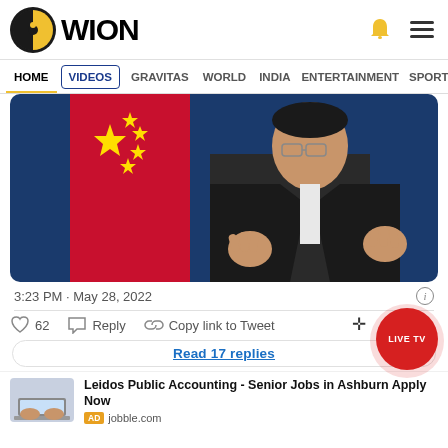WION
[Figure (screenshot): Navigation bar with HOME, VIDEOS, GRAVITAS, WORLD, INDIA, ENTERTAINMENT, SPORTS menu items]
[Figure (photo): Photo of a Chinese official in a dark suit speaking in front of the Chinese flag on a blue background]
3:23 PM · May 28, 2022
62  Reply  Copy link to Tweet
Read 17 replies
[Figure (photo): Advertisement thumbnail showing hands on a laptop keyboard]
Leidos Public Accounting - Senior Jobs in Ashburn Apply Now
AD jobble.com